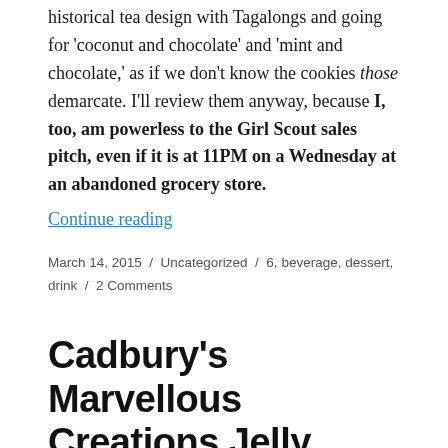historical tea design with Tagalongs and going for 'coconut and chocolate' and 'mint and chocolate,' as if we don't know the cookies those demarcate. I'll review them anyway, because I, too, am powerless to the Girl Scout sales pitch, even if it is at 11PM on a Wednesday at an abandoned grocery store.
Continue reading
March 14, 2015 / Uncategorized / 6, beverage, dessert, drink / 2 Comments
Cadbury's Marvellous Creations Jelly Popping Candy Chocolate